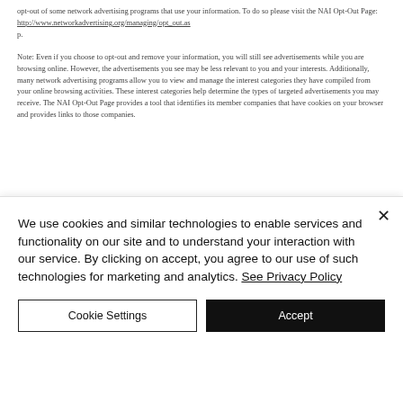opt-out of some network advertising programs that use your information. To do so please visit the NAI Opt-Out Page: http://www.networkadvertising.org/managing/opt_out.asp.
Note: Even if you choose to opt-out and remove your information, you will still see advertisements while you are browsing online. However, the advertisements you see may be less relevant to you and your interests. Additionally, many network advertising programs allow you to view and manage the interest categories they have compiled from your online browsing activities. These interest categories help determine the types of targeted advertisements you may receive. The NAI Opt-Out Page provides a tool that identifies its member companies that have cookies on your browser and provides links to those companies.
We use cookies and similar technologies to enable services and functionality on our site and to understand your interaction with our service. By clicking on accept, you agree to our use of such technologies for marketing and analytics. See Privacy Policy
Cookie Settings
Accept